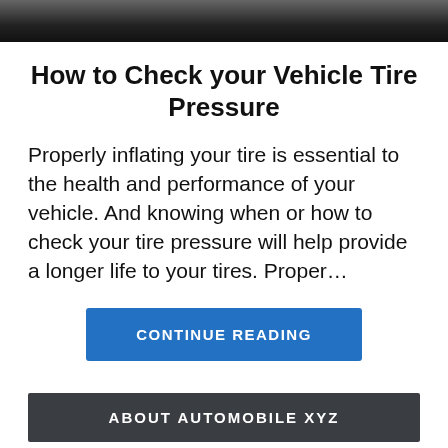[Figure (photo): Top portion of a photo, partially cropped, showing a dark scene]
How to Check your Vehicle Tire Pressure
Properly inflating your tire is essential to the health and performance of your vehicle. And knowing when or how to check your tire pressure will help provide a longer life to your tires. Proper...
CONTINUE READING
ABOUT AUTOMOBILE XYZ
Automobile XYZ is our beloved platform, where we, some automotive enthusiasts share our